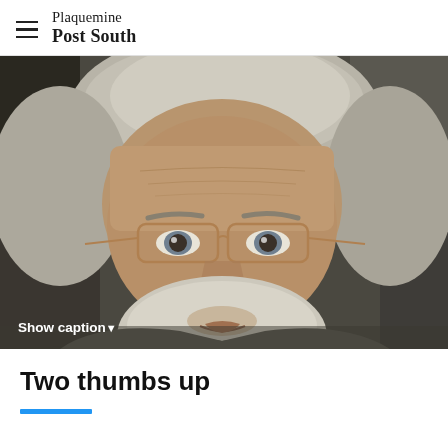Plaquemine Post South
[Figure (photo): Close-up photograph of an older man with white/gray hair and beard, wearing thin-framed glasses and a dark shirt, looking directly at the camera. Dark background.]
Show caption▼
Two thumbs up